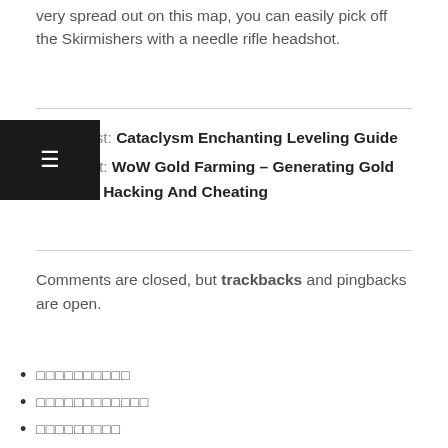very spread out on this map, you can easily pick off the Skirmishers with a needle rifle headshot.
Previous Post: Cataclysm Enchanting Leveling Guide
Next Post: WoW Gold Farming – Generating Gold Through Hacking And Cheating
Comments are closed, but trackbacks and pingbacks are open.
□□□□□□□□□□
□□□□□□□□□□□□
□□□□□□□□□